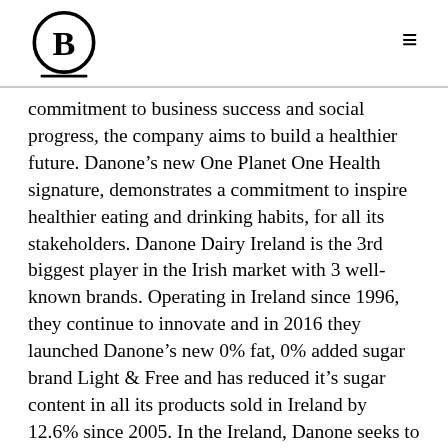B Corp logo and navigation menu
commitment to business success and social progress, the company aims to build a healthier future. Danone’s new One Planet One Health signature, demonstrates a commitment to inspire healthier eating and drinking habits, for all its stakeholders. Danone Dairy Ireland is the 3rd biggest player in the Irish market with 3 well-known brands. Operating in Ireland since 1996, they continue to innovate and in 2016 they launched Danone’s new 0% fat, 0% added sugar brand Light & Free and has reduced it’s sugar content in all its products sold in Ireland by 12.6% since 2005. In the Ireland, Danone seeks to help consumers understand the role the fresh dairy and plant based products can play in a balanced diet, offering tasty, versatile choices to meet consumer’s needs every day. To achieve this, Danone works collaboratively with their employees, their partners and Government, and their local communities. Danone Dairy Ireland is the 15th Danone